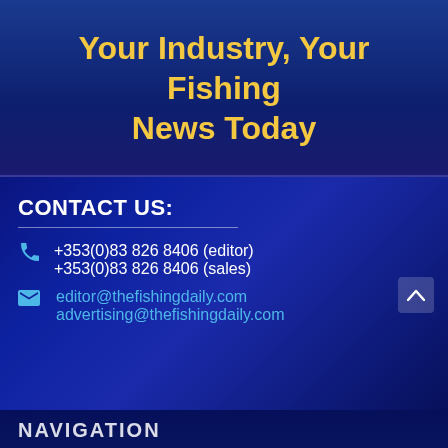Your Industry, Your Fishing News Today
CONTACT US:
+353(0)83 826 8406 (editor)
+353(0)83 826 8406 (sales)
editor@thefishingdaily.com
advertising@thefishingdaily.com
NAVIGATION
0  f 0  t  in 0  < >